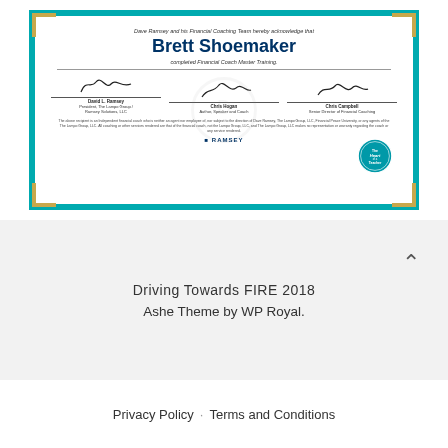[Figure (illustration): A certificate of completion from Dave Ramsey's Financial Coaching Team awarded to Brett Shoemaker for completing Financial Coach Master Training. Features teal border, signatures from David L. Ramsey, Chris Hogan, and Chris Campbell, a Ramsey logo, and a Heart of a Teacher seal.]
Driving Towards FIRE 2018
Ashe Theme by WP Royal.
Privacy Policy · Terms and Conditions